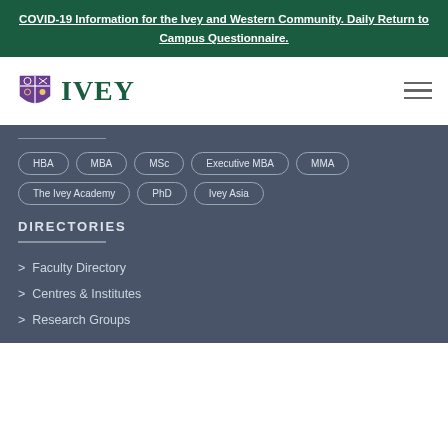COVID-19 Information for the Ivey and Western Community. Daily Return to Campus Questionnaire.
[Figure (logo): Ivey Business School logo with purple shield and green IVEY wordmark]
HBA
MBA
MSc
Executive MBA
MMA
The Ivey Academy
PhD
Ivey Asia
DIRECTORIES
Faculty Directory
Centres & Institutes
Research Groups